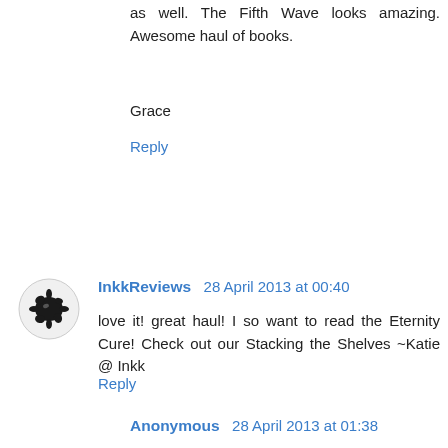as well. The Fifth Wave looks amazing. Awesome haul of books.
Grace
Reply
InkkReviews 28 April 2013 at 00:40
love it! great haul! I so want to read the Eternity Cure! Check out our Stacking the Shelves ~Katie @ Inkk
Reply
Anonymous 28 April 2013 at 01:38
I picked up Nameless this week, too. I don't really know anything about it, but I am very intrigued and can't wait to give it a try.
I never had to read P&P for school, but I did read it on my own. It's my favorite book. I'm glad you love LBD and I hope you enjoy P&P now that you can read it as a choice.